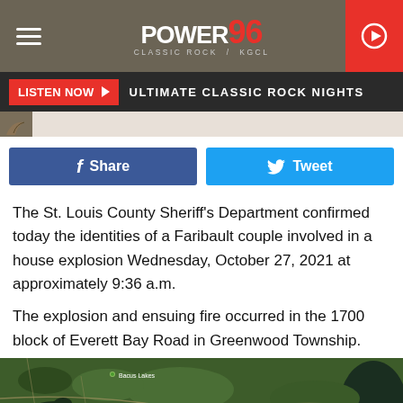Power 96 Classic Rock KGCL
[Figure (screenshot): Power 96 Classic Rock radio station header with hamburger menu, logo, and play button]
[Figure (screenshot): Listen Now button bar with ULTIMATE CLASSIC ROCK NIGHTS text]
[Figure (screenshot): Facebook Share and Twitter Tweet buttons]
The St. Louis County Sheriff's Department confirmed today the identities of a Faribault couple involved in a house explosion Wednesday, October 27, 2021 at approximately 9:36 a.m.
The explosion and ensuing fire occurred in the 1700 block of Everett Bay Road in Greenwood Township.
[Figure (map): Google Maps satellite view of the Everett Bay Road area in Greenwood Township, showing lakes and wooded terrain]